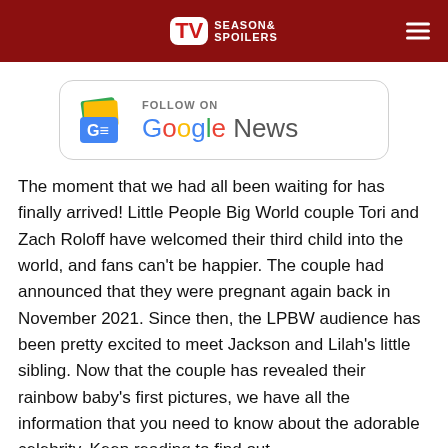TV Season & Spoilers
[Figure (logo): Follow on Google News banner with Google News icon]
The moment that we had all been waiting for has finally arrived! Little People Big World couple Tori and Zach Roloff have welcomed their third child into the world, and fans can't be happier. The couple had announced that they were pregnant again back in November 2021. Since then, the LPBW audience has been pretty excited to meet Jackson and Lilah's little sibling. Now that the couple has revealed their rainbow baby's first pictures, we have all the information that you need to know about the adorable celebrity. Keep reading to find out.